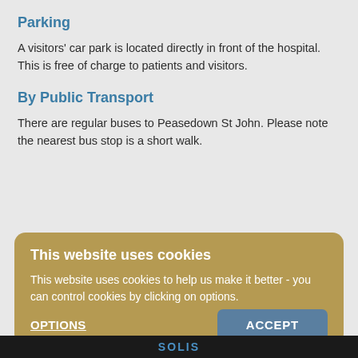Parking
A visitors' car park is located directly in front of the hospital. This is free of charge to patients and visitors.
By Public Transport
There are regular buses to Peasedown St John. Please note the nearest bus stop is a short walk.
This website uses cookies
This website uses cookies to help us make it better - you can control cookies by clicking on options.
OPTIONS
ACCEPT